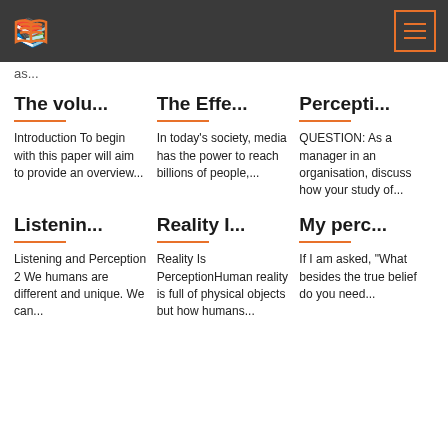as...
The volu...
Introduction To begin with this paper will aim to provide an overview...
The Effe...
In today's society, media has the power to reach billions of people,...
Percepti...
QUESTION: As a manager in an organisation, discuss how your study of...
Listenin...
Listening and Perception 2 We humans are different and unique. We can...
Reality I...
Reality Is PerceptionHuman reality is full of physical objects but how humans...
My perc...
If I am asked, "What besides the true belief do you need...